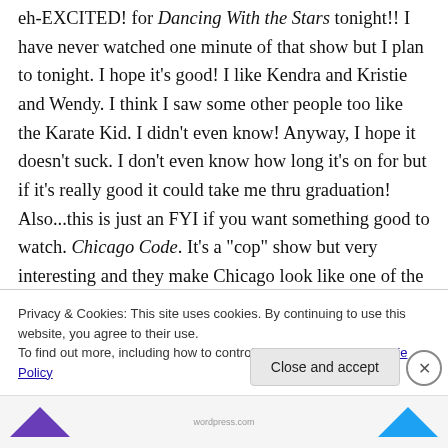eh-EXCITED! for Dancing With the Stars tonight!! I have never watched one minute of that show but I plan to tonight. I hope it's good! I like Kendra and Kristie and Wendy. I think I saw some other people too like the Karate Kid. I didn't even know! Anyway, I hope it doesn't suck. I don't even know how long it's on for but if it's really good it could take me thru graduation! Also...this is just an FYI if you want something good to watch. Chicago Code. It's a "cop" show but very interesting and they make Chicago look like one of the characters. I believe it's from the brain of one of The Shield writers, I understand totally interesting...
Privacy & Cookies: This site uses cookies. By continuing to use this website, you agree to their use. To find out more, including how to control cookies, see here: Cookie Policy